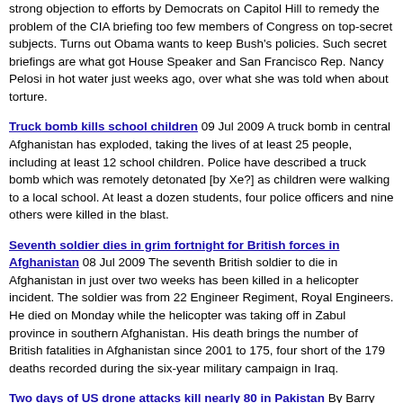strong objection to efforts by Democrats on Capitol Hill to remedy the problem of the CIA briefing too few members of Congress on top-secret subjects. Turns out Obama wants to keep Bush's policies. Such secret briefings are what got House Speaker and San Francisco Rep. Nancy Pelosi in hot water just weeks ago, over what she was told when about torture.
Truck bomb kills school children 09 Jul 2009 A truck bomb in central Afghanistan has exploded, taking the lives of at least 25 people, including at least 12 school children. Police have described a truck bomb which was remotely detonated [by Xe?] as children were walking to a local school. At least a dozen students, four police officers and nine others were killed in the blast.
Seventh soldier dies in grim fortnight for British forces in Afghanistan 08 Jul 2009 The seventh British soldier to die in Afghanistan in just over two weeks has been killed in a helicopter incident. The soldier was from 22 Engineer Regiment, Royal Engineers. He died on Monday while the helicopter was taking off in Zabul province in southern Afghanistan. His death brings the number of British fatalities in Afghanistan since 2001 to 175, four short of the 179 deaths recorded during the six-year military campaign in Iraq.
Two days of US drone attacks kill nearly 80 in Pakistan By Barry Grey 09 Jul 2009 The United States fired multiple missiles from pilotless drones on Wednesday in two separate attacks on insurgents in Pakistan's South Waziristan district, killing up to 60 people. The attacks followed a US missile strike in South...